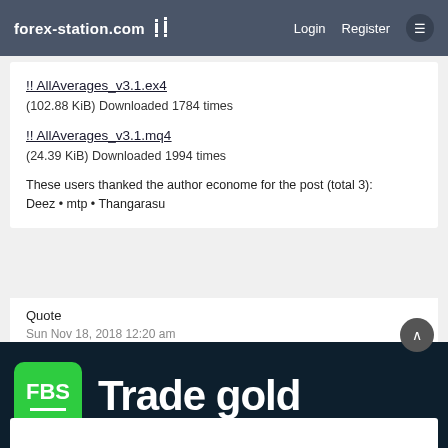forex-station.com  Login  Register
!! AllAverages_v3.1.ex4
(102.88 KiB) Downloaded 1784 times
!! AllAverages_v3.1.mq4
(24.39 KiB) Downloaded 1994 times
These users thanked the author econome for the post (total 3):
Deez • mtp • Thangarasu
Quote
Sun Nov 18, 2018 12:20 am
[Figure (screenshot): FBS broker advertisement banner with green FBS logo and 'Trade gold' text on dark background]